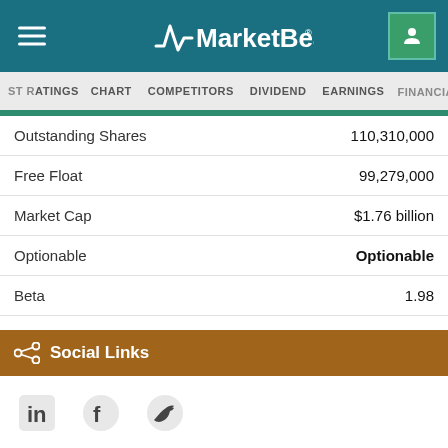MarketBeat
ST RATINGS  CHART  COMPETITORS  DIVIDEND  EARNINGS  FINANCIALS
|  |  |
| --- | --- |
| Outstanding Shares | 110,310,000 |
| Free Float | 99,279,000 |
| Market Cap | $1.76 billion |
| Optionable | Optionable |
| Beta | 1.98 |
Social Links
[Figure (other): Social media icons: LinkedIn, Facebook, Twitter]
Key Executives
Mr. Bradley C. Ro...